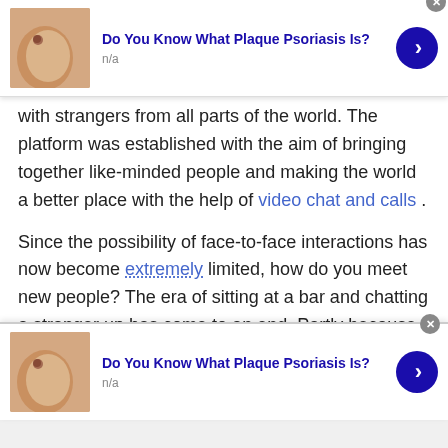[Figure (infographic): Ad banner at top: thumbnail of skin/hand, title 'Do You Know What Plaque Psoriasis Is?', subtitle 'n/a', blue arrow button, gray X close button]
with strangers from all parts of the world. The platform was established with the aim of bringing together like-minded people and making the world a better place with the help of video chat and calls .
Since the possibility of face-to-face interactions has now become extremely limited, how do you meet new people? The era of sitting at a bar and chatting a stranger up has come to an end. Partly because of the pandemic but mostly because of the introduction of video conferencing applications that allow you to communicate with
[Figure (infographic): Ad banner at bottom: thumbnail of skin/hand, title 'Do You Know What Plaque Psoriasis Is?', subtitle 'n/a', blue arrow button, gray X close button]